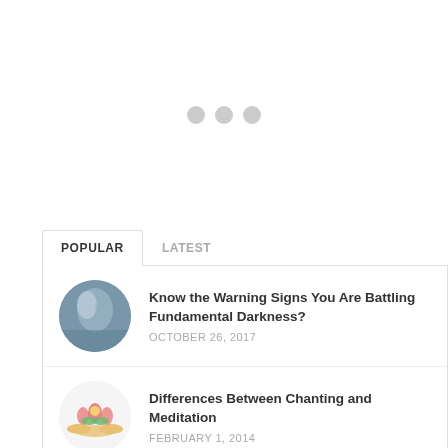[Figure (other): Three gray loading dots centered on white background]
POPULAR | LATEST
Know the Warning Signs You Are Battling Fundamental Darkness? — OCTOBER 26, 2017
Differences Between Chanting and Meditation — FEBRUARY 1, 2014
Know Why a Determination is Important When Chanting for a Goal? — SEPTEMBER 14, 2017